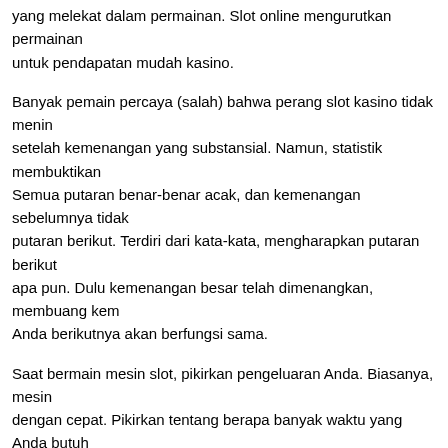yang melekat dalam permainan. Slot online mengurutkan permainan untuk pendapatan mudah kasino.
Banyak pemain percaya (salah) bahwa perang slot kasino tidak menin setelah kemenangan yang substansial. Namun, statistik membuktikan Semua putaran benar-benar acak, dan kemenangan sebelumnya tidak putaran berikut. Terdiri dari kata-kata, mengharapkan putaran berikut apa pun. Dulu kemenangan besar telah dimenangkan, membuang kem Anda berikutnya akan berfungsi sama.
Saat bermain mesin slot, pikirkan pengeluaran Anda. Biasanya, mesin dengan cepat. Pikirkan tentang berapa banyak waktu yang Anda butuh di mesin mereka sendiri. Ingin menghabiskan jangka waktu yang lebih pertimbangkan untuk bermain dengan taruhan yang lebih kecil.
Jangan berpikir sejenak bahwa situs judi online memberikan uang gra mereka. Kenangan seumur hidup mereka perusahaan. Tujuan utama m keuntungan. Jadi mengapa mereka menawarkan promosi ini?
Dimungkinkan untuk memainkan permainan kasino yang disimpan di